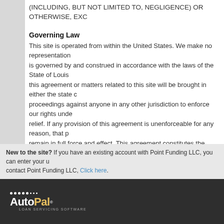(INCLUDING, BUT NOT LIMITED TO, NEGLIGENCE) OR OTHERWISE, EXC
Governing Law
This site is operated from within the United States. We make no representation is governed by and construed in accordance with the laws of the State of Louis this agreement or matters related to this site will be brought in either the state c proceedings against anyone in any other jurisdiction to enforce our rights unde relief. If any provision of this agreement is unenforceable for any reason, that p remain in full force and effect. This agreement constitutes the entire agreemen
Internet Fraud
In the interest of preventing Internet fraud, we reserve the right refuse to ship a
Comments and Questions
We appreciate your comments about our site. However, any comments, ideas, such communications in any manner, including reproducing, disclosing and pu us at 504-208-4406.
New to the site? If you have an existing account with Point Funding LLC, you can enter your u contact Point Funding LLC, Click here.
[Figure (logo): AutoPal loan servicing software logo in white and gold on dark background]